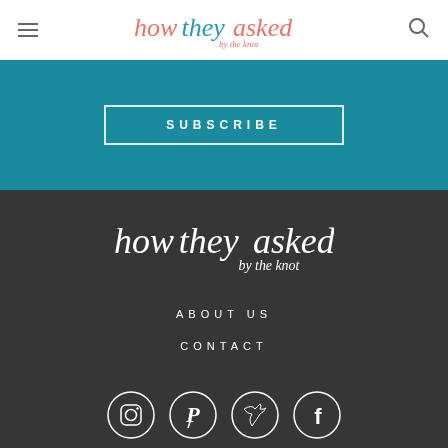howtheyasked by the knot
SUBSCRIBE
[Figure (logo): howtheyasked by the knot logo in white on dark background]
ABOUT US
CONTACT
[Figure (illustration): Social media icons: Instagram, Pinterest, Twitter, Facebook — white circle outlines on dark background]